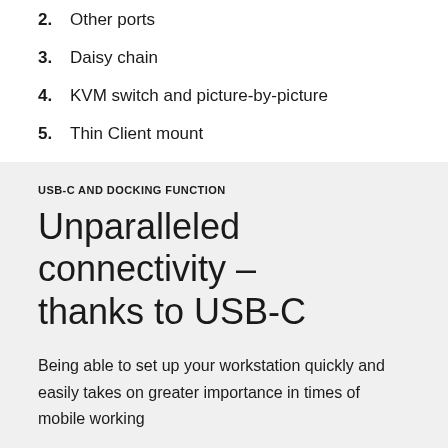2. Other ports
3. Daisy chain
4. KVM switch and picture-by-picture
5. Thin Client mount
USB-C AND DOCKING FUNCTION
Unparalleled connectivity – thanks to USB-C
Being able to set up your workstation quickly and easily takes on greater importance in times of mobile working